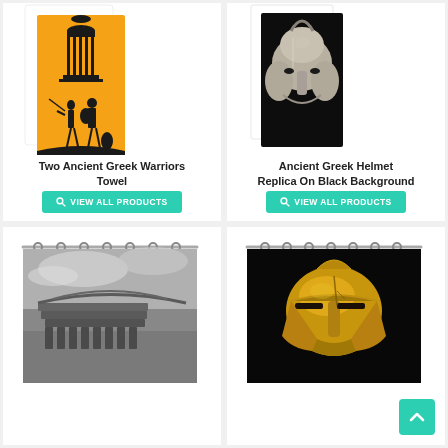[Figure (photo): Orange towel product with two ancient Greek warriors silhouette design showing temple, columns, and figures]
Two Ancient Greek Warriors Towel
VIEW ALL PRODUCTS
[Figure (photo): Ancient Greek helmet replica on black background, silver/gold colored helmet]
Ancient Greek Helmet Replica On Black Background
VIEW ALL PRODUCTS
[Figure (photo): Black and white photo of the Roman Colosseum with dramatic cloudy sky, shown as a shower curtain product]
[Figure (photo): Gold ancient Greek/Spartan style helmet on black background, shown as a shower curtain product]